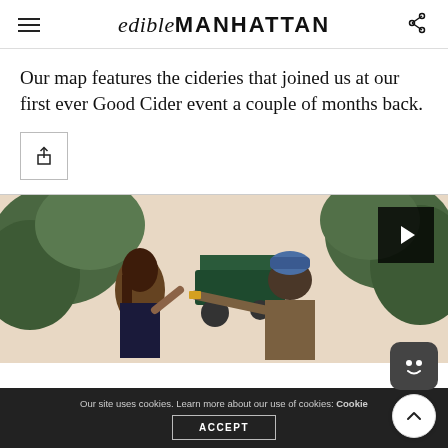edibleMANHATTAN
Our map features the cideries that joined us at our first ever Good Cider event a couple of months back.
[Figure (screenshot): Share button icon (upload/share symbol) inside a square border]
[Figure (photo): Two people outdoors among apple trees, one handing something to the other, with a tractor in the background. A video play button overlay is visible in the upper right corner.]
Our site uses cookies. Learn more about our use of cookies: Cookie Policy